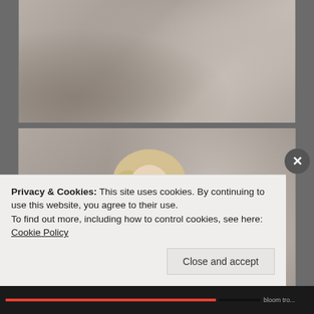[Figure (photo): Top portion of a stone/concrete textured wall, grayish-beige tones, partial view]
[Figure (photo): Woman with blonde hair wearing a black lace/textured sleeveless dress and statement necklace, posing against a stone wall background]
Privacy & Cookies: This site uses cookies. By continuing to use this website, you agree to their use.
To find out more, including how to control cookies, see here: Cookie Policy
Close and accept